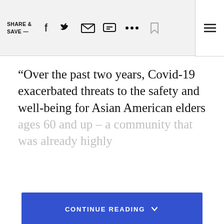SHARE & SAVE —  [social icons: Facebook, Twitter, Email, Message, More, Bookmark]  [Menu]
“Over the past two years, Covid-19 exacerbated threats to the safety and well-being for Asian American elders ages 60 and up – a community that was already highly
CONTINUE READING
Taboola Feed
[Figure (photo): Close-up photo of a white and blue object, possibly a bottle or container, with blurred background]
Open in the NBC News app